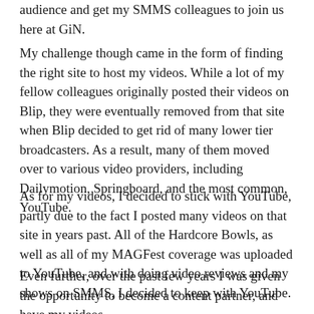audience and get my SMMS colleagues to join us here at GiN.
My challenge though came in the form of finding the right site to host my videos. While a lot of my fellow colleagues originally posted their videos on Blip, they were eventually removed from that site when Blip decided to get rid of many lower tier broadcasters. As a result, many of them moved over to various video providers, including Dailymotion, Springboard, and the most common, YouTube.
As for my videos, I decided to stick with YouTube, partly due to the fact I posted many videos on that site in years past. All of the Hardcore Bowls, as well as all of my MAGFest coverage was uploaded to YouTube, and with doing video reviews and my shows on SMMS, I decided to keep with YouTube.
Even further, over the past few years I was given the opportunity to become a content partner, and have my videos monetized. I will admit that though I did not earn a significant...